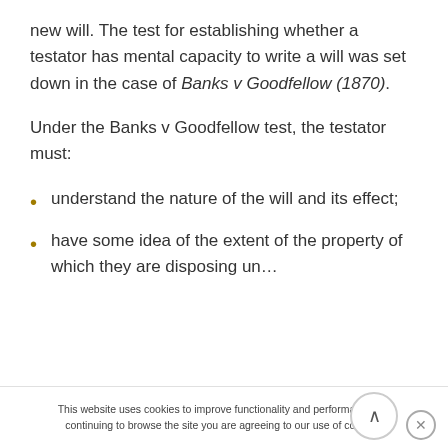new will. The test for establishing whether a testator has mental capacity to write a will was set down in the case of Banks v Goodfellow (1870).
Under the Banks v Goodfellow test, the testator must:
understand the nature of the will and its effect;
have some idea of the extent of the property of which they are disposing un…
This website uses cookies to improve functionality and performance. By continuing to browse the site you are agreeing to our use of cookies.